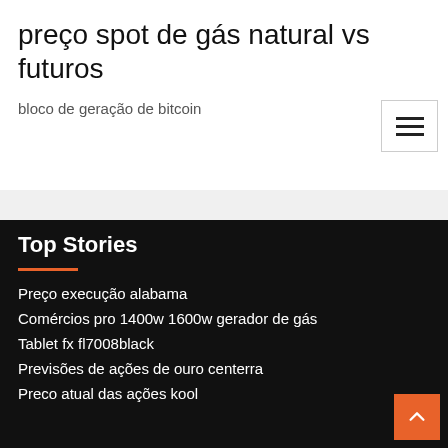preço spot de gás natural vs futuros
bloco de geração de bitcoin
Top Stories
Preço execução alabama
Comércios pro 1400w 1600w gerador de gás
Tablet fx fl7008black
Previsões de ações de ouro centerra
Preco atual das ações kool